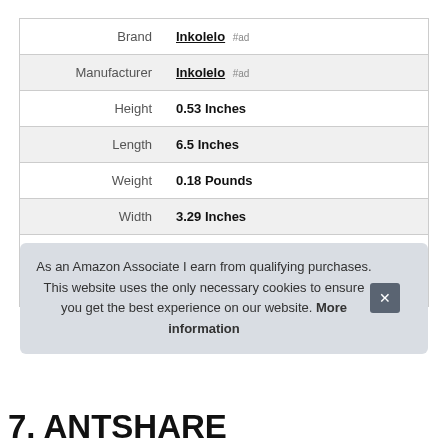|  |  |
| --- | --- |
| Brand | Inkolelo #ad |
| Manufacturer | Inkolelo #ad |
| Height | 0.53 Inches |
| Length | 6.5 Inches |
| Weight | 0.18 Pounds |
| Width | 3.29 Inches |
| Part Number | Dot-10 |
| Model | Dot-10 |
As an Amazon Associate I earn from qualifying purchases. This website uses the only necessary cookies to ensure you get the best experience on our website. More information
7. ANTSHARE